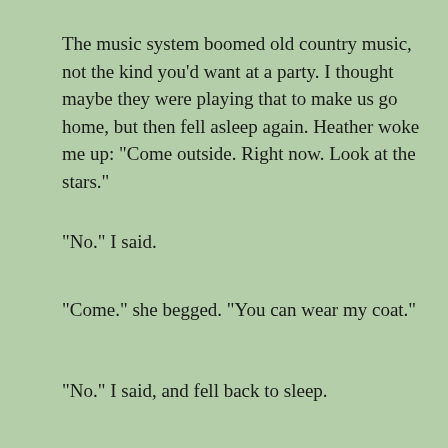The music system boomed old country music, not the kind you'd want at a party. I thought maybe they were playing that to make us go home, but then fell asleep again. Heather woke me up: "Come outside. Right now. Look at the stars."
"No." I said.
"Come." she begged. "You can wear my coat."
"No." I said, and fell back to sleep.
When Heather climbed back into bed, she felt like talking. She filled me in on the conversations I missed. The partiers continued their drunken stories from the